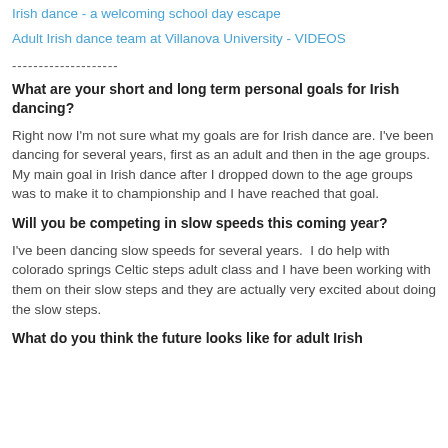Irish dance - a welcoming school day escape
Adult Irish dance team at Villanova University - VIDEOS
--------------------
What are your short and long term personal goals for Irish dancing?
Right now I'm not sure what my goals are for Irish dance are. I've been dancing for several years, first as an adult and then in the age groups. My main goal in Irish dance after I dropped down to the age groups was to make it to championship and I have reached that goal.
Will you be competing in slow speeds this coming year?
I've been dancing slow speeds for several years.  I do help with colorado springs Celtic steps adult class and I have been working with them on their slow steps and they are actually very excited about doing the slow steps.
What do you think the future looks like for adult Irish